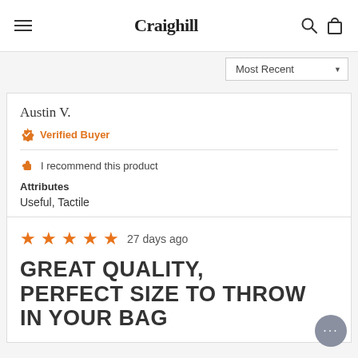Craighill
Most Recent
Austin V.
Verified Buyer
I recommend this product
Attributes
Useful, Tactile
27 days ago
GREAT QUALITY, PERFECT SIZE TO THROW IN YOUR BAG